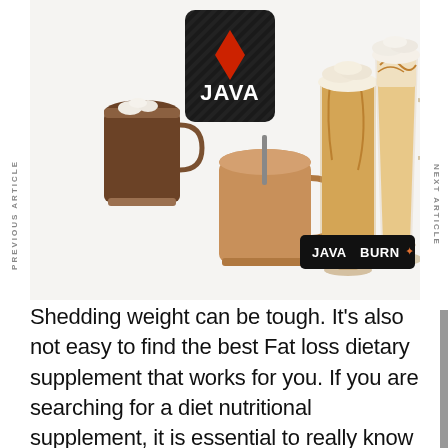[Figure (photo): Product photo showing Java Burn supplement container (black canister with red X logo and 'JAVA' text) alongside multiple glass mugs of coffee drinks in various styles — a dark coffee with marshmallows, a large latte, a caramel frappe-style drink, and a tall creamy iced drink — plus a black Java Burn packet in the foreground.]
Shedding weight can be tough. It's also not easy to find the best Fat loss dietary supplement that works for you. If you are searching for a diet nutritional supplement, it is essential to really know